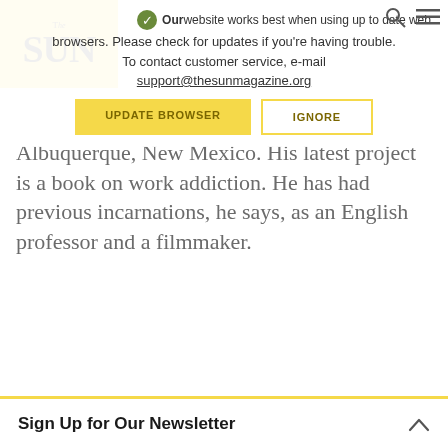The SUN
Our website works best when using up to date web browsers. Please check for updates if you're having trouble. To contact customer service, e-mail support@thesunmagazine.org
UPDATE BROWSER   IGNORE
Albuquerque, New Mexico. His latest project is a book on work addiction. He has had previous incarnations, he says, as an English professor and a filmmaker.
MORE
HANIEL LONG was an American poet, novelist, publisher, and academic. Published in 1936, Interlinear to Cabeza de Vaca is considered Long's best statement of his beliefs on man's place in the world.
Sign Up for Our Newsletter